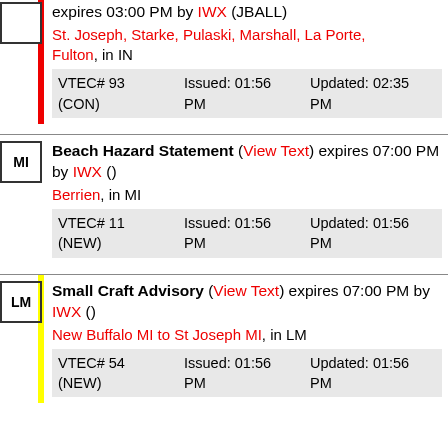expires 03:00 PM by IWX (JBALL) St. Joseph, Starke, Pulaski, Marshall, La Porte, Fulton, in IN VTEC# 93 (CON) Issued: 01:56 PM Updated: 02:35 PM
MI Beach Hazard Statement (View Text) expires 07:00 PM by IWX () Berrien, in MI VTEC# 11 (NEW) Issued: 01:56 PM Updated: 01:56 PM
LM Small Craft Advisory (View Text) expires 07:00 PM by IWX () New Buffalo MI to St Joseph MI, in LM VTEC# 54 (NEW) Issued: 01:56 PM Updated: 01:56 PM